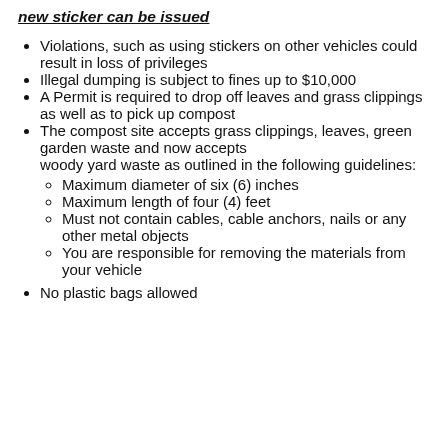new sticker can be issued
Violations, such as using stickers on other vehicles could result in loss of privileges
Illegal dumping is subject to fines up to $10,000
A Permit is required to drop off leaves and grass clippings as well as to pick up compost
The compost site accepts grass clippings, leaves, green garden waste and now accepts woody yard waste as outlined in the following guidelines:
Maximum diameter of six (6) inches
Maximum length of four (4) feet
Must not contain cables, cable anchors, nails or any other metal objects
You are responsible for removing the materials from your vehicle
No plastic bags allowed